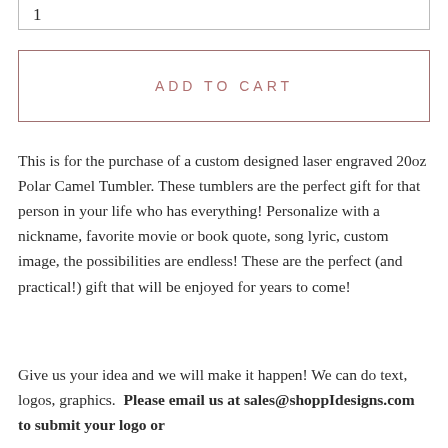1
ADD TO CART
This is for the purchase of a custom designed laser engraved 20oz Polar Camel Tumbler. These tumblers are the perfect gift for that person in your life who has everything! Personalize with a nickname, favorite movie or book quote, song lyric, custom image, the possibilities are endless! These are the perfect (and practical!) gift that will be enjoyed for years to come!
Give us your idea and we will make it happen! We can do text, logos, graphics. Please email us at sales@shoppIdesigns.com to submit your logo or